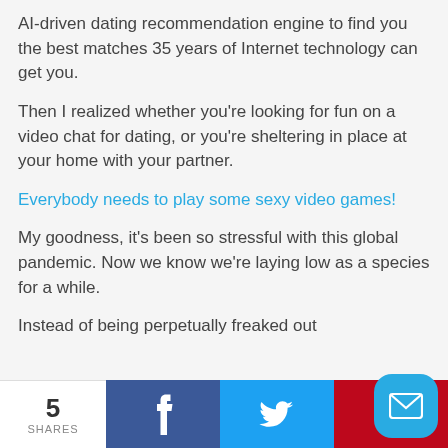AI-driven dating recommendation engine to find you the best matches 35 years of Internet technology can get you.
Then I realized whether you're looking for fun on a video chat for dating, or you're sheltering in place at your home with your partner.
Everybody needs to play some sexy video games!
My goodness, it's been so stressful with this global pandemic. Now we know we're laying low as a species for a while.
Instead of being perpetually freaked out